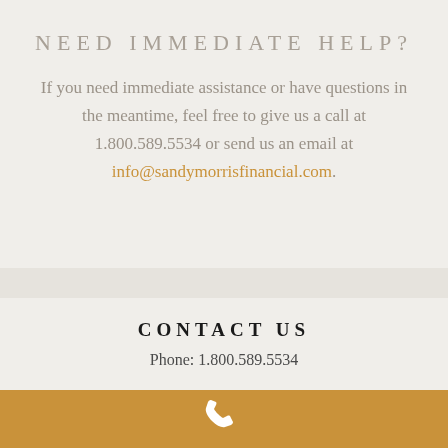NEED IMMEDIATE HELP?
If you need immediate assistance or have questions in the meantime, feel free to give us a call at 1.800.589.5534 or send us an email at info@sandymorrisfinancial.com.
CONTACT US
Phone: 1.800.589.5534
[Figure (illustration): White phone handset icon on gold/amber background bar at bottom of page]